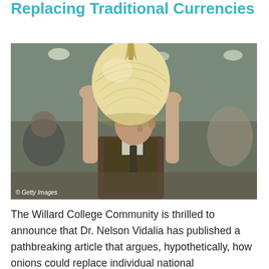Replacing Traditional Currencies
[Figure (photo): An elderly man holds up a large onion at what appears to be a produce or agricultural show. He is wearing a dark vest over a light shirt with a tie, gazing up at the enormous onion. Other people are visible in the blurred background inside a large hall. A 'Getty Images' watermark is visible in the lower left corner.]
The Willard College Community is thrilled to announce that Dr. Nelson Vidalia has published a pathbreaking article that argues, hypothetically, how onions could replace individual national